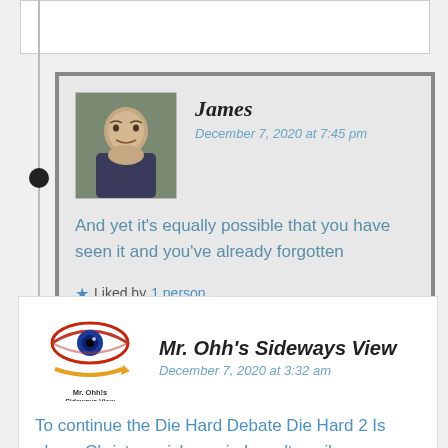[Figure (screenshot): Top portion of a previous comment card, partially visible]
James
December 7, 2020 at 7:45 pm
And yet it's equally possible that you have seen it and you've already forgotten
Liked by 1 person
[Figure (logo): Mr. Ohh's Sideways View logo — stylized eye with arrow]
Mr. Ohh's Sideways View
December 7, 2020 at 3:32 am
To continue the Die Hard Debate Die Hard 2 Is also a Christmas-ish movie I won't spoil